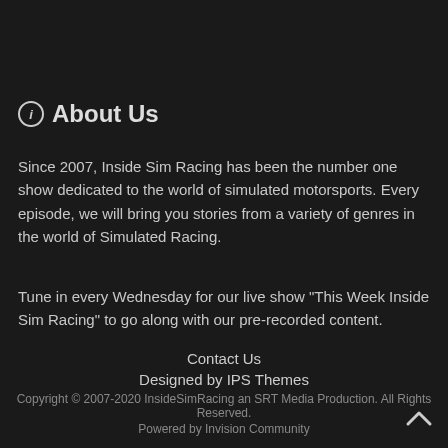ℹ About Us
Since 2007, Inside Sim Racing has been the number one show dedicated to the world of simulated motorsports. Every episode, we will bring you stories from a variety of genres in the world of Simulated Racing.
Tune in every Wednesday for our live show "This Week Inside Sim Racing" to go along with our pre-recorded content.
Contact Us
Designed by IPS Themes
Copyright © 2007-2020 InsideSimRacing an SRT Media Production. All Rights Reserved.
Powered by Invision Community